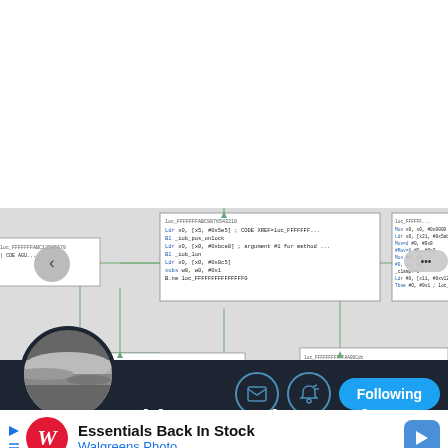[Figure (screenshot): Twitter/X profile page screenshot showing a code disassembly/flowchart diagram (likely iOS jailbreak tool Pwn20wnd), a dark profile bar with avatar, follow button, message and notification icons, a tweet title 'Pwn20wnd is preparing to drop unc...' and a Walgreens Photo ad banner at the bottom.]
Pwn20wnd is preparing to drop
unc...
@Pwn...
Essentials Back In Stock
Walgreens Photo
Following